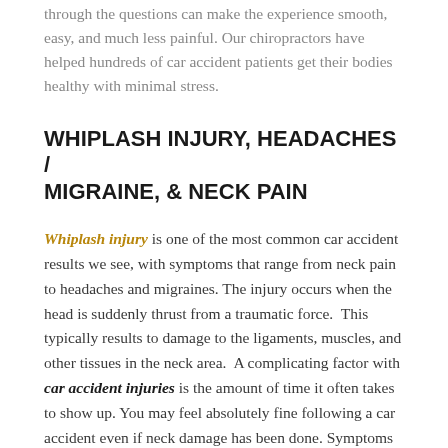through the questions can make the experience smooth, easy, and much less painful. Our chiropractors have helped hundreds of car accident patients get their bodies healthy with minimal stress.
WHIPLASH INJURY, HEADACHES / MIGRAINE, & NECK PAIN
Whiplash injury is one of the most common car accident results we see, with symptoms that range from neck pain to headaches and migraines. The injury occurs when the head is suddenly thrust from a traumatic force.  This typically results to damage to the ligaments, muscles, and other tissues in the neck area.  A complicating factor with car accident injuries is the amount of time it often takes to show up. You may feel absolutely fine following a car accident even if neck damage has been done. Symptoms can take weeks to